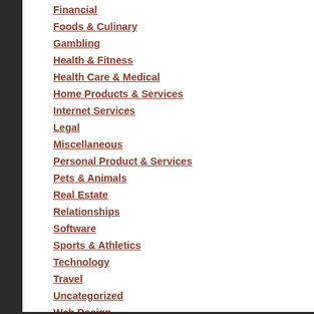Financial
Foods & Culinary
Gambling
Health & Fitness
Health Care & Medical
Home Products & Services
Internet Services
Legal
Miscellaneous
Personal Product & Services
Pets & Animals
Real Estate
Relationships
Software
Sports & Athletics
Technology
Travel
Uncategorized
Web Design
Web Resources